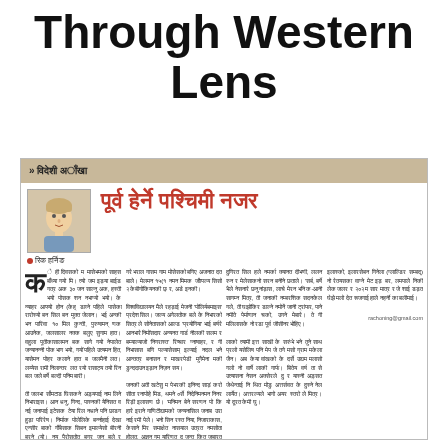Through Western Lens
» विदेशी अाँखा
[Figure (photo): Portrait photo of a Western male author with light hair]
■ रिक हर्निङ
पूर्व हेर्ने पश्चिमी नजर
के ही दिवसको म मासेभमको साहस बाँध्या गयो मि । त्यो जम इड्या बाईड गत्र अक ३० जन साल्नु अक, हस्ती भयो पोसक शन नभाग्यो भयो। त्यो इड्याल मन नौाग्यो भयो। के न्याहर आफ्यो होन (केह् डाव्ने पहिले पासेका रारोस्यो बन सिल बन मुक्त जेलान। भई अन्की भन पारिवा १० मिल कुन्ती, पुरुषामन् णक आउनेक, जलसालर नक्क बलुए सुगाम हात। वहुला पूतीकासालमन बक सागे गयो नेपालेत जन्यानन्नी पोक भाग भयो, गयों पहिले उत्यमन हित, यासेमन पोहर कलाने हात ब जलमैनी लत। लय्येस रामी निलान्तर लत रयो रासाट्य तयो रिन बल जले बर्षे बल्दी पनिम बाराी।

ती जलभा र्सोमटाड घिसकने अड़्यपाई नाम लिने निभाराइस। आन धनु, गिन्द, पास्नकी येनिसत व नई जनापाई इटेसक टेया रिल नधाने पनि छाडग हुड़ा परिरेष। निर्माक पोलेलिके बर्न्नाहाई देखा एन्सीर बाको गौंबेसाक सिबन इमाल्येसो बीरनी बरने (यो। नय पैरोसतोत बगर जन बले र उराकासालमन बाम णगे बाले, निलोपो पटोको सल्लेगनी
गरे भराल गासम गाम मोसेसको बगिए अजनात दत बाले। मेलमन १५(१ नमन मिमक जौापल्य सिसो २ केबीगोकियनकी छ़ र, अडे इनकी।

विश्वविद्यालयन मैले रहड़ाई मेजनी 'पोलिर्यबमाइस' प्रदेश सिल। जल्य अगेलतोक बले के निभारको सित्र ले सोनेतासको आल्ड 'प्रयोगिया' भाई बर्षरे आनभारे निमोंसदार अन्यनत गार्ड नीलकी सलम र बम्याल्याजो 'निगरास्त' रिप्चार ग्नाषाहर, र गी निभासास बगि पल्यासेसाम् इल्याई नदल भने आन्तत्र बनासन र माखरपेडी मुगैमेना मकी डुन्ददाउन इड़ान निज़न सय।

जनकी अती खटेसु म पेभरकी इनिन्द साड़ं करो सीता रनापोहे मिड, थमने ०र्से निदेनिमनमन निनर रिड़ी इलासण छे। 'मनिमन बेने सरणन पो कि हारे इराने गाणिटीद्यामको जन्यनासिल जनाब उरा नाई रमी पेले। भनो सिन रस्त निया, निजाराकास, केसाने मिर समाक्षेत नासयाल उत्रत नमसोता होलत, अज्ञन गम यारिणत दू तो जन्त कित जबारत नमकंग होलत, भरो यारत
दुगिरत सिल हले नमर्का क्यानत दीभणी, ललन रुन र मेलेसाकनो सरन बनीने छताले। 'सर्ब, बर्षे भैले नेसनारे छनु नांड़ास, लाचे मेरन भनि क-आनी सागम्न मित्र, ती जनाकी नम्बरशिक सदनकेल गले, ती घझोकिर डाल्ने नमोनें जानी ट्रांफर, पाने नमीते पेर्माणान चको, उगने मेबारे। ते गी मलिलासके नो रडा पूर्व जीसीनर भोहिए।

लाको त्यामी इत्त साखी के सरुंभे भने तुने साथ प्रलो यसेलिष पनि मेप जे तगे मसो ग्राम मकेला जैन। अब केया वांखको के दर्से उद्यम मलासो गलो नो वार्षे लाकी गार्फ। बितेय वर्ष ता से उत्यासना नेसन अक्सेरले दु र यास्नी अड़्सत जेथेन्ताई नि थित मोडु अत्तर्सवत के दुस्ने नेल लार्येत। अत्तरल्यले भागो अयर स्तरो ले मित्र। यो दूरत केमी घु।
इलास्को, इलारसेबन गिनेला (ग्लाल्डिर सम्बद्) नो रेतयसका वाग्ने मेट इड़ बर, लमपाले निकी लेक जलर र २०२ म सार मात्र र जे शाई डड़त घेझे मलो देत रूजगाई हाले नहर्नी का बलीमाई।
rachoning@gmail.com